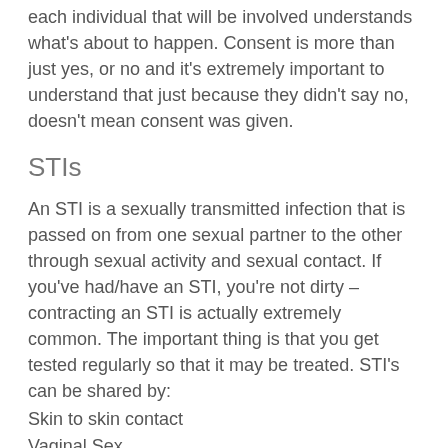each individual that will be involved understands what's about to happen. Consent is more than just yes, or no and it's extremely important to understand that just because they didn't say no, doesn't mean consent was given.
STIs
An STI is a sexually transmitted infection that is passed on from one sexual partner to the other through sexual activity and sexual contact. If you've had/have an STI, you're not dirty – contracting an STI is actually extremely common. The important thing is that you get tested regularly so that it may be treated. STI's can be shared by:
Skin to skin contact
Vaginal Sex
Anal Sex
Oral Sex